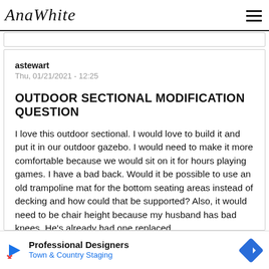AnaWhite
astewart
Thu, 01/21/2021 - 12:25
OUTDOOR SECTIONAL MODIFICATION QUESTION
I love this outdoor sectional. I would love to build it and put it in our outdoor gazebo. I would need to make it more comfortable because we would sit on it for hours playing games. I have a bad back. Would it be possible to use an old trampoline mat for the bottom seating areas instead of decking and how could that be supported? Also, it would need to be chair height because my husband has bad knees. He's already had one replaced.
Professional Designers
Town & Country Staging